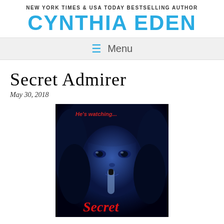NEW YORK TIMES & USA TODAY BESTSELLING AUTHOR
CYNTHIA EDEN
☰ Menu
Secret Admirer
May 30, 2018
[Figure (photo): Book cover for 'Secret Admirer' by Cynthia Eden — dark blue-toned image of a young woman with dark hair holding a finger to her lips in a shushing gesture, with red text 'He's watching...' at the top and red cursive text 'Secret' at the bottom.]